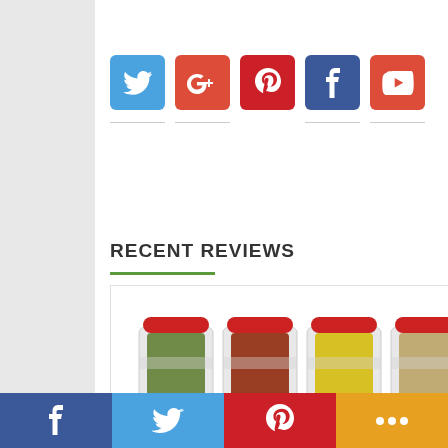[Figure (infographic): Social media icon buttons: Twitter (blue), Google+ (red), Pinterest (red), Facebook (dark blue), YouTube (red)]
RECENT REVIEWS
[Figure (photo): Five spice jars with red lids containing various spices (green herbs, red pepper flakes, yellow spice, tan spice, mixed peppercorns), lined up side by side on a white background]
YouCopia SpiceLiner Spice Rack Drawer Review
[Figure (infographic): Bottom share bar with four buttons: Facebook (dark blue), Twitter (light blue), Pinterest (red), Share/more (orange)]